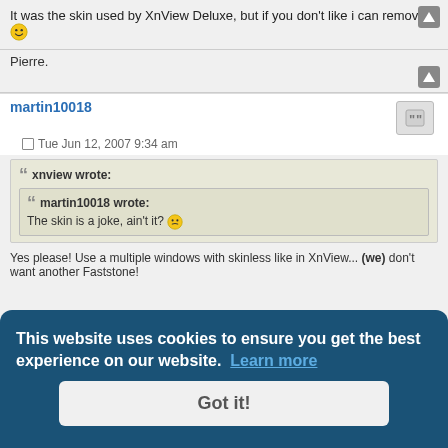It was the skin used by XnView Deluxe, but if you don't like i can remove it 😀
Pierre.
martin10018
Tue Jun 12, 2007 9:34 am
xnview wrote:
martin10018 wrote: The skin is a joke, ain't it? 🙂
Yes please! Use a multiple windows with skinless like in XnView... (we) don't want another Faststone!
This website uses cookies to ensure you get the best experience on our website. Learn more
Got it!
gclunst